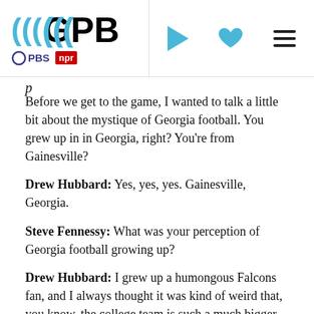GPB | PBS | NPR — navigation header with play, heart, and menu icons
Before we get to the game, I wanted to talk a little bit about the mystique of Georgia football. You grew up in in Georgia, right? You're from Gainesville?
Drew Hubbard: Yes, yes, yes. Gainesville, Georgia.
Steve Fennessy: What was your perception of Georgia football growing up?
Drew Hubbard: I grew up a humongous Falcons fan, and I always thought it was kind of weird that, you know, the college team is such a much bigger deal than the professional team, right? I mean, it's the NFL, it's the top dog. It's the best football in the world, you know? When they kick off on Saturdays, why is this Georgia football team? Why are they the biggest deal? But that's how it is. Gosh, if they play Florida and Jacksonville, the whole South just shuts